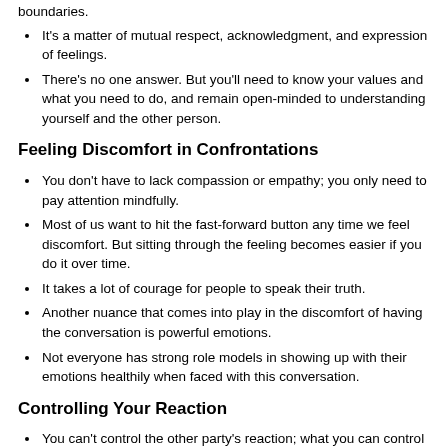It's a matter of mutual respect, acknowledgment, and expression of feelings.
There's no one answer. But you'll need to know your values and what you need to do, and remain open-minded to understanding yourself and the other person.
Feeling Discomfort in Confrontations
You don't have to lack compassion or empathy; you only need to pay attention mindfully.
Most of us want to hit the fast-forward button any time we feel discomfort. But sitting through the feeling becomes easier if you do it over time.
It takes a lot of courage for people to speak their truth.
Another nuance that comes into play in the discomfort of having the conversation is powerful emotions.
Not everyone has strong role models in showing up with their emotions healthily when faced with this conversation.
Controlling Your Reaction
You can't control the other party's reaction; what you can control is your own.
Rosie recommends going straight to the source when you can't control your reactivity. You have to look at how you're living your life as a whole.